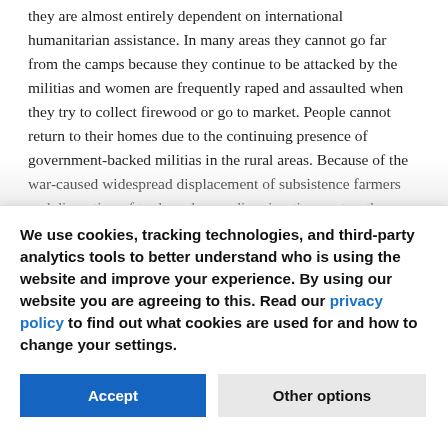they are almost entirely dependent on international humanitarian assistance. In many areas they cannot go far from the camps because they continue to be attacked by the militias and women are frequently raped and assaulted when they try to collect firewood or go to market. People cannot return to their homes due to the continuing presence of government-backed militias in the rural areas. Because of the war-caused widespread displacement of subsistence farmers and disruption of trade and nomadic migration routes, the
We use cookies, tracking technologies, and third-party analytics tools to better understand who is using the website and improve your experience. By using our website you are agreeing to this. Read our privacy policy to find out what cookies are used for and how to change your settings.